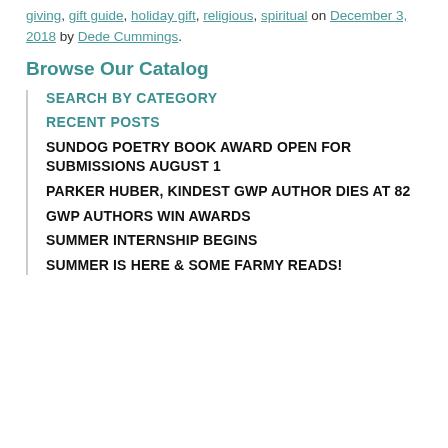giving, gift guide, holiday gift, religious, spiritual on December 3, 2018 by Dede Cummings.
Browse Our Catalog
SEARCH BY CATEGORY
RECENT POSTS
SUNDOG POETRY BOOK AWARD OPEN FOR SUBMISSIONS AUGUST 1
PARKER HUBER, KINDEST GWP AUTHOR DIES AT 82
GWP AUTHORS WIN AWARDS
SUMMER INTERNSHIP BEGINS
SUMMER IS HERE & SOME FARMY READS!